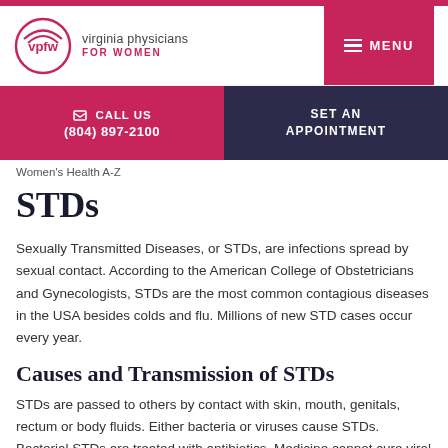[Figure (logo): Virginia Physicians for Women (VPFW) logo with circular arc design and text]
MENU
CALL US (804) 897-2100 | SET AN APPOINTMENT
Women's Health A-Z
STDs
Sexually Transmitted Diseases, or STDs, are infections spread by sexual contact. According to the American College of Obstetricians and Gynecologists, STDs are the most common contagious diseases in the USA besides colds and flu. Millions of new STD cases occur every year.
Causes and Transmission of STDs
STDs are passed to others by contact with skin, mouth, genitals, rectum or body fluids. Either bacteria or viruses cause STDs. Bacterial STDs are treated with antibiotics. Medicine cannot cure viral STDs, but it can treat